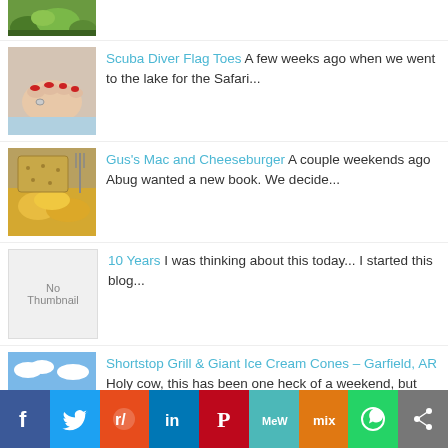[Figure (photo): Partial thumbnail of plants/garden at top of page]
Scuba Diver Flag Toes A few weeks ago when we went to the lake for the Safari...
Gus's Mac and Cheeseburger A couple weekends ago Abug wanted a new book. We decide...
10 Years I was thinking about this today... I started this blog...
Shortstop Grill & Giant Ice Cream Cones – Garfield, AR Holy cow, this has been one heck of a weekend, but let'...
[Figure (infographic): Social sharing bar with Facebook, Twitter, Reddit, LinkedIn, Pinterest, MeWe, Mix, WhatsApp, Share buttons]